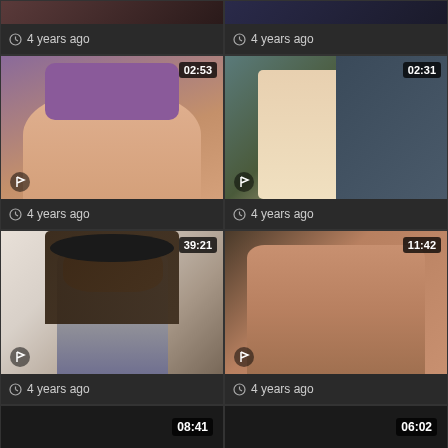[Figure (screenshot): Video thumbnail grid showing 8 video thumbnails with timestamps and '4 years ago' metadata. Top row: two partial thumbnails. Row 2: thumbnail with timestamp 02:53, thumbnail with timestamp 02:31. Row 3: webcam girl thumbnail with timestamp 39:21, partial nude thumbnail with timestamp 11:42. Bottom row: two dark/loading thumbnails with timestamps 08:41 and 06:02.]